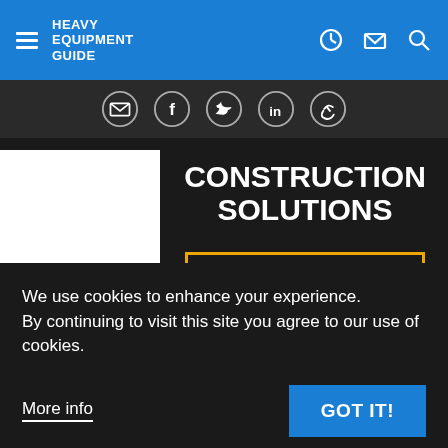HEAVY EQUIPMENT GUIDE
[Figure (screenshot): Social media sharing icons: email, facebook, twitter, linkedin, link]
[Figure (other): JCB advertisement: CONSTRUCTION SOLUTIONS, JCB BETTER logo, Explore Now button]
We use cookies to enhance your experience. By continuing to visit this site you agree to our use of cookies.
More info
GOT IT!